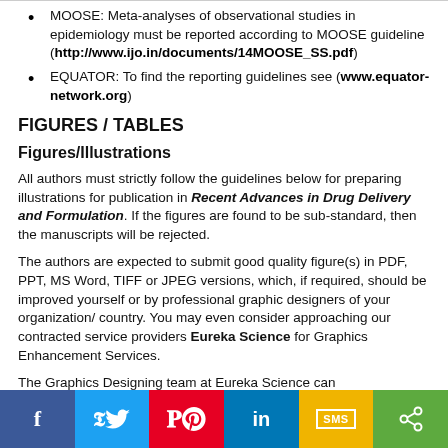MOOSE: Meta-analyses of observational studies in epidemiology must be reported according to MOOSE guideline (http://www.ijo.in/documents/14MOOSE_SS.pdf)
EQUATOR: To find the reporting guidelines see (www.equator-network.org)
FIGURES / TABLES
Figures/Illustrations
All authors must strictly follow the guidelines below for preparing illustrations for publication in Recent Advances in Drug Delivery and Formulation. If the figures are found to be sub-standard, then the manuscripts will be rejected.
The authors are expected to submit good quality figure(s) in PDF, PPT, MS Word, TIFF or JPEG versions, which, if required, should be improved yourself or by professional graphic designers of your organization/ country. You may even consider approaching our contracted service providers Eureka Science for Graphics Enhancement Services.
The Graphics Designing team at Eureka Science can